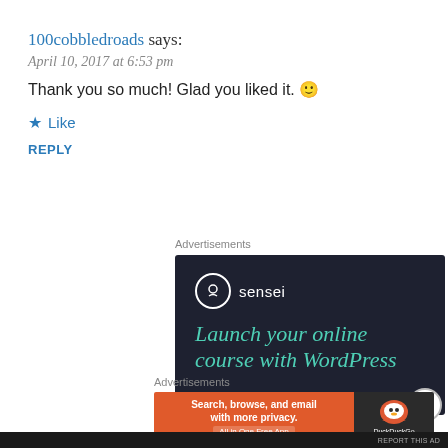100cobbledroads says:
April 10, 2017 at 6:53 pm
Thank you so much! Glad you liked it. 🙂
★ Like
REPLY
Advertisements
[Figure (screenshot): Sensei advertisement: dark background with Sensei logo and text 'Launch your online course with WordPress']
Advertisements
[Figure (screenshot): DuckDuckGo advertisement: 'Search, browse, and email with more privacy. All in One Free App']